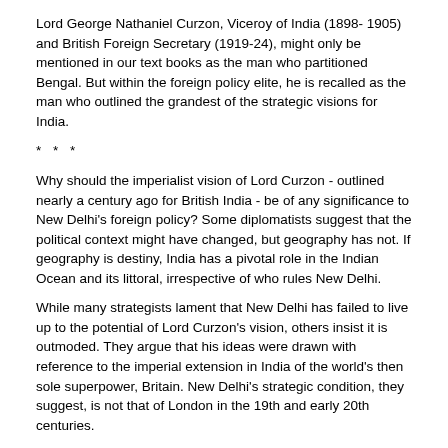Lord George Nathaniel Curzon, Viceroy of India (1898- 1905) and British Foreign Secretary (1919-24), might only be mentioned in our text books as the man who partitioned Bengal. But within the foreign policy elite, he is recalled as the man who outlined the grandest of the strategic visions for India.
* * *
Why should the imperialist vision of Lord Curzon - outlined nearly a century ago for British India - be of any significance to New Delhi's foreign policy? Some diplomatists suggest that the political context might have changed, but geography has not. If geography is destiny, India has a pivotal role in the Indian Ocean and its littoral, irrespective of who rules New Delhi.
While many strategists lament that New Delhi has failed to live up to the potential of Lord Curzon's vision, others insist it is outmoded. They argue that his ideas were drawn with reference to the imperial extension in India of the world's then sole superpower, Britain. New Delhi's strategic condition, they suggest, is not that of London in the 19th and early 20th centuries.
While Indians disagree on the value of the Viceroy's legacy, many in the neighbourhood, in particular Pakistan, have always accused the Indian foreign policy of Curzonian ambitions. For them, independent India's foreign policy has always been a continuation of the British imperial legacy. They believe Jawaharlal Nehru and his successors have only couched the ambition in different words.
The challenge for New Delhi, in balance, is to retain the essence of